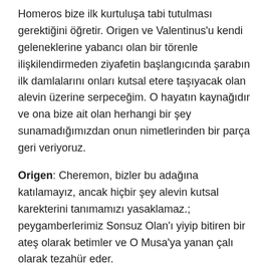Homeros bize ilk kurtuluşa tabi tutulması gerektiğini öğretir. Origen ve Valentinus'u kendi geleneklerine yabancı olan bir törenle ilişkilendirmeden ziyafetin başlangıcında şarabın ilk damlalarını onları kutsal etere taşıyacak olan alevin üzerine serpeceğim. O hayatın kaynağıdır ve ona bize ait olan herhangi bir şey sunamadığımızdan onun nimetlerinden bir parça geri veriyoruz.
Origen: Cheremon, bizler bu adağına katılamayız, ancak hiçbir şey alevin kutsal karekterini tanımamızı yasaklamaz.; peygamberlerimiz Sonsuz Olan'ı yiyip bitiren bir ateş olarak betimler ve O Musa'ya yanan çalı olarak tezahür eder.